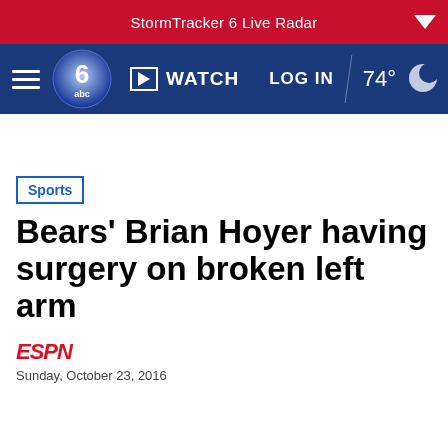StormTracker 6 Live Radar
[Figure (screenshot): ABC6 news navigation bar with hamburger menu, 6abc logo, WATCH button, LOG IN button, 74° weather with moon icon]
Sports
Bears' Brian Hoyer having surgery on broken left arm
[Figure (logo): ESPN logo in red italic text]
Sunday, October 23, 2016